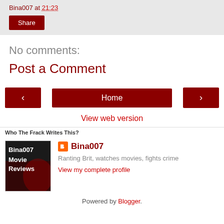Bina007 at 21:23
Share
No comments:
Post a Comment
‹  Home  ›
View web version
Who The Frack Writes This?
[Figure (photo): Bina007 Movie Reviews blog profile picture with red-toned movie theater image]
Bina007
Ranting Brit, watches movies, fights crime
View my complete profile
Powered by Blogger.